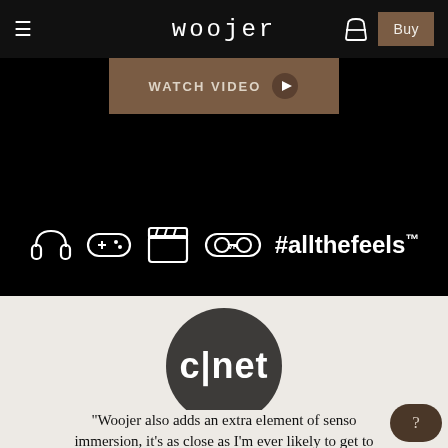≡  woojer  🛍  Buy
[Figure (screenshot): Watch Video button (brown/tan button with play icon, partially cropped at top)]
[Figure (infographic): Row of white icons (headphones, gamepad, clapperboard, VR headset) followed by #allthefeels™ text in white on black background]
[Figure (logo): CNET logo — white 'c|net' text on dark charcoal circle]
"Woojer also adds an extra element of senso immersion, it's as close as I'm ever likely to get to